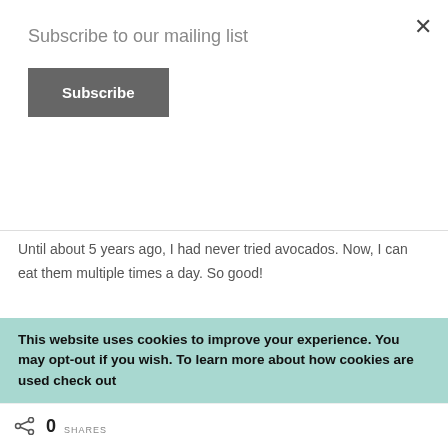Subscribe to our mailing list
Subscribe
Until about 5 years ago, I had never tried avocados. Now, I can eat them multiple times a day. So good!
CRISTINA PETRINI
Reply
January 22, 2020 at 3:12 am
I know that avocado can be used for many preparations, but I have never had much
This website uses cookies to improve your experience. You may opt-out if you wish. To learn more about how cookies are used check out
0 SHARES